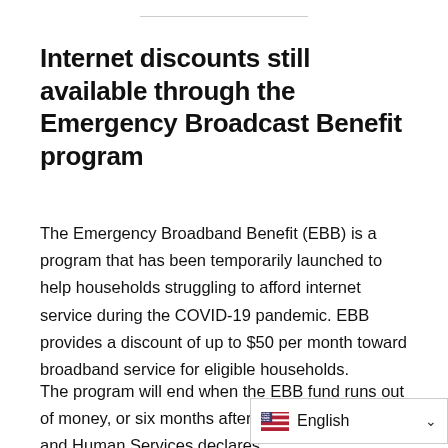Internet discounts still available through the Emergency Broadcast Benefit program
The Emergency Broadband Benefit (EBB) is a program that has been temporarily launched to help households struggling to afford internet service during the COVID-19 pandemic. EBB provides a discount of up to $50 per month toward broadband service for eligible households.
The program will end when the EBB fund runs out of money, or six months after the and Human Services declares